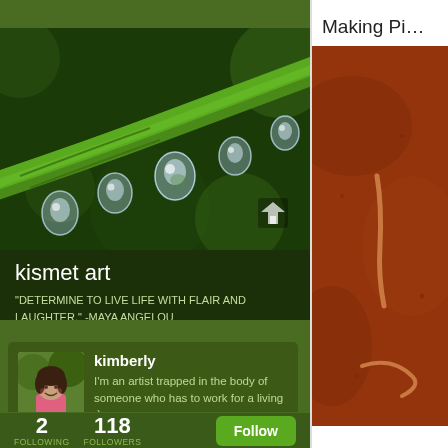[Figure (photo): Close-up macro photo of green plant stem with water droplets hanging from it]
kismet art
"DETERMINE TO LIVE LIFE WITH FLAIR AND LAUGHTER." -MAYA ANGELOU
[Figure (photo): Profile avatar photo of a woman with dark hair, smiling, wearing a pink top]
kimberly
I'm an artist trapped in the body of someone who has to work for a living :)
2 FOLLOWING
118 FOLLOWERS
Follow
Making Pi…
[Figure (photo): Close-up photo of what appears to be a reddish-brown surface with a small worm or similar object on it]